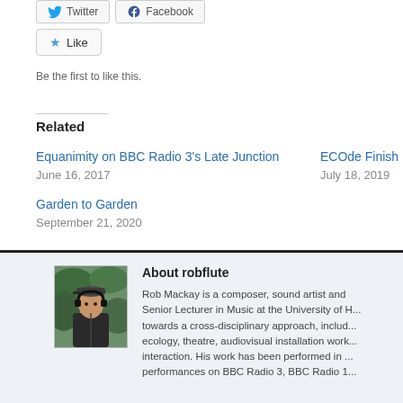[Figure (other): Twitter and Facebook social share buttons at top]
[Figure (other): Star Like button widget]
Be the first to like this.
Related
Equanimity on BBC Radio 3's Late Junction
June 16, 2017
ECOde Finish...
July 18, 2019
Garden to Garden
September 21, 2020
About robflute
[Figure (photo): Photo of Rob Mackay, a man wearing a cap and headphones outdoors]
Rob Mackay is a composer, sound artist and Senior Lecturer in Music at the University of H... towards a cross-disciplinary approach, includ... ecology, theatre, audiovisual installation work... interaction. His work has been performed in ... performances on BBC Radio 3, BBC Radio 1...